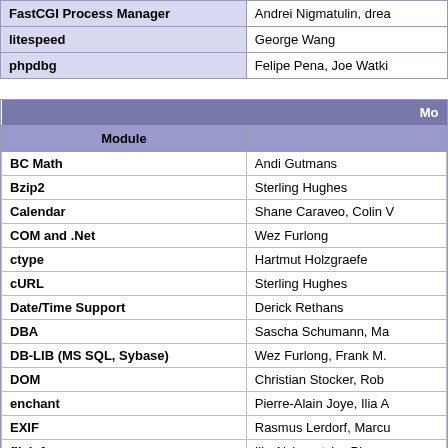|  |  |
| --- | --- |
| FastCGI Process Manager | Andrei Nigmatulin, drea |
| litespeed | George Wang |
| phpdbg | Felipe Pena, Joe Watki |
| Module | Mo |
| --- | --- |
| BC Math | Andi Gutmans |
| Bzip2 | Sterling Hughes |
| Calendar | Shane Caraveo, Colin V |
| COM and .Net | Wez Furlong |
| ctype | Hartmut Holzgraefe |
| cURL | Sterling Hughes |
| Date/Time Support | Derick Rethans |
| DBA | Sascha Schumann, Ma |
| DB-LIB (MS SQL, Sybase) | Wez Furlong, Frank M. |
| DOM | Christian Stocker, Rob |
| enchant | Pierre-Alain Joye, Ilia A |
| EXIF | Rasmus Lerdorf, Marcu |
| fileinfo | Ilia Alshanetsky, Pierre |
| Firebird driver for PDO | Ard Biesheuvel |